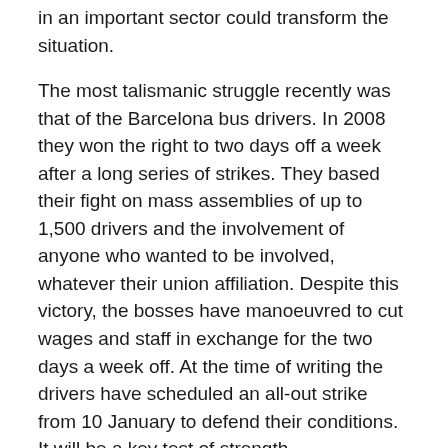in an important sector could transform the situation.
The most talismanic struggle recently was that of the Barcelona bus drivers. In 2008 they won the right to two days off a week after a long series of strikes. They based their fight on mass assemblies of up to 1,500 drivers and the involvement of anyone who wanted to be involved, whatever their union affiliation. Despite this victory, the bosses have manoeuvred to cut wages and staff in exchange for the two days a week off. At the time of writing the drivers have scheduled an all-out strike from 10 January to defend their conditions. It will be a key test of strength.
A more recent victory was recorded by orange pickers and packers in the Guadalquivir valley in the province of Córdoba. On 5 November these seasonal workers